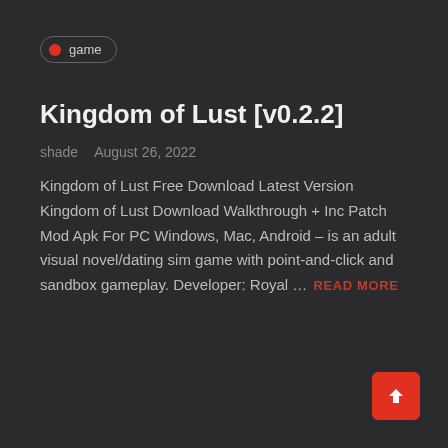game
Kingdom of Lust [v0.2.2]
shade   August 26, 2022
Kingdom of Lust Free Download Latest Version Kingdom of Lust Download Walkthrough + Inc Patch Mod Apk For PC Windows, Mac, Android – is an adult visual novel/dating sim game with point-and-click and sandbox gameplay. Developer: Royal ...  READ MORE